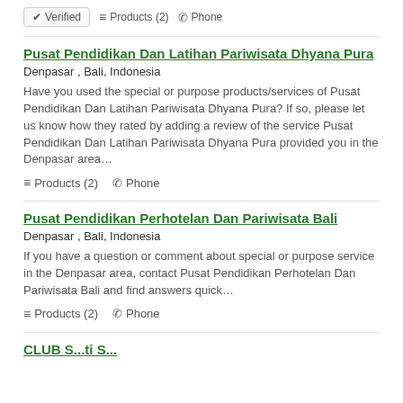✔ Verified  ≡ Products (2)  ✆ Phone
Pusat Pendidikan Dan Latihan Pariwisata Dhyana Pura
Denpasar , Bali, Indonesia
Have you used the special or purpose products/services of Pusat Pendidikan Dan Latihan Pariwisata Dhyana Pura? If so, please let us know how they rated by adding a review of the service Pusat Pendidikan Dan Latihan Pariwisata Dhyana Pura provided you in the Denpasar area…
≡ Products (2)  ✆ Phone
Pusat Pendidikan Perhotelan Dan Pariwisata Bali
Denpasar , Bali, Indonesia
If you have a question or comment about special or purpose service in the Denpasar area, contact Pusat Pendidikan Perhotelan Dan Pariwisata Bali and find answers quick…
≡ Products (2)  ✆ Phone
CLUB S...ti S...